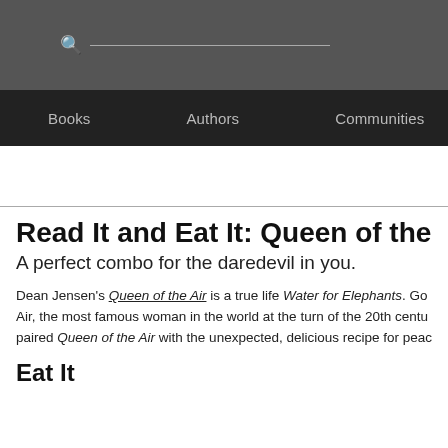search bar and navigation: Books | Authors | Communities
Read It and Eat It: Queen of the Air a
A perfect combo for the daredevil in you.
Dean Jensen's Queen of the Air is a true life Water for Elephants. Go Air, the most famous woman in the world at the turn of the 20th centu paired Queen of the Air with the unexpected, delicious recipe for peac
Eat It